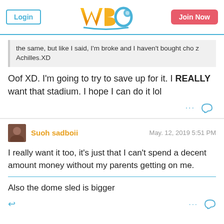Login | WBO logo | Join Now
the same, but like I said, I'm broke and I haven't bought cho z Achilles.XD
Oof XD. I'm going to try to save up for it. I REALLY want that stadium. I hope I can do it lol
Suoh sadboii  May. 12, 2019  5:51 PM
I really want it too, it's just that I can't spend a decent amount money without my parents getting on me.
Also the dome sled is bigger